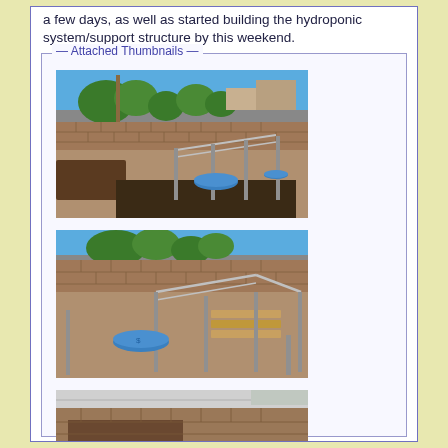a few days, as well as started building the hydroponic system/support structure by this weekend.
Attached Thumbnails
[Figure (photo): Outdoor area with brick retaining wall, metal posts, blue circular discs on ground, trees in background, sunny day]
[Figure (photo): Closer view of outdoor area with brick wall, metal pipe structure/frame, blue disc on ground, gravel surface]
[Figure (photo): Side view of brick wall area with metal pipe frame structure on ground, blue disc, gravel surface]